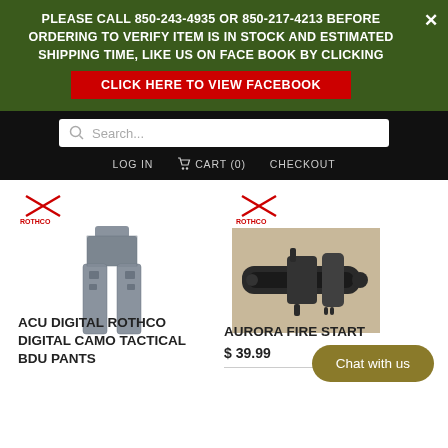PLEASE CALL 850-243-4935 OR 850-217-4213 BEFORE ORDERING TO VERIFY ITEM IS IN STOCK AND ESTIMATED SHIPPING TIME, LIKE US ON FACE BOOK BY CLICKING
CLICK HERE TO VIEW FACEBOOK
[Figure (screenshot): Search bar with magnifying glass icon and placeholder text 'Search...']
LOG IN   CART (0)   CHECKOUT
[Figure (photo): Rothco logo and ACU digital camouflage tactical BDU pants product image]
[Figure (photo): Rothco logo and Aurora fire starter product image showing metal fire starter tools]
ACU DIGITAL ROTHCO DIGITAL CAMO TACTICAL BDU PANTS
AURORA FIRE START
$ 39.99
Chat with us